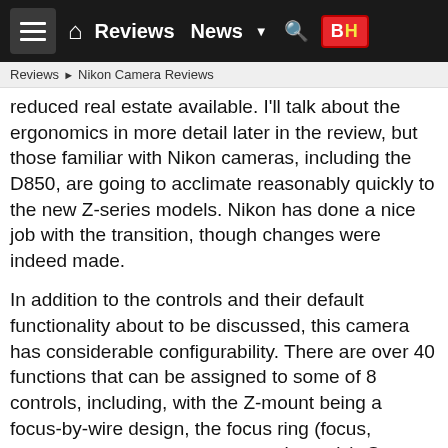Reviews ▶ Nikon Camera Reviews
reduced real estate available. I'll talk about the ergonomics in more detail later in the review, but those familiar with Nikon cameras, including the D850, are going to acclimate reasonably quickly to the new Z-series models. Nikon has done a nice job with the transition, though changes were indeed made.
In addition to the controls and their default functionality about to be discussed, this camera has considerable configurability. There are over 40 functions that can be assigned to some of 8 controls, including, with the Z-mount being a focus-by-wire design, the focus ring (focus, aperture or exposure compensation only). See page 269 in the owner's manual to find the full matrix.